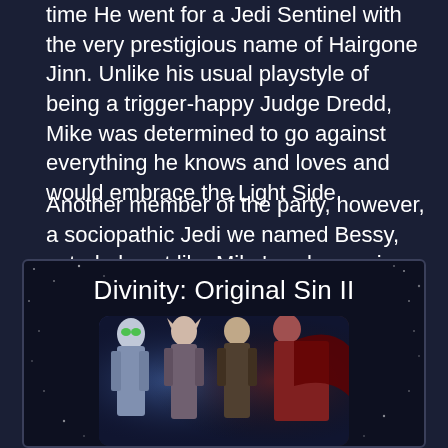time He went for a Jedi Sentinel with the very prestigious name of Hairgone Jinn. Unlike his usual playstyle of being a trigger-happy Judge Dredd, Mike was determined to go against everything he knows and loves and would embrace the Light Side.
Another member of the party, however, a sociopathic Jedi we named Bessy, acted almost like Mike's subconscious by berating any light-sided decision and trying to push our angelic Hairgone Jinn to the dark side, they have cookies after all.
[Figure (illustration): A card panel for the game 'Divinity: Original Sin II' featuring the game title text at the top and a partial view of game artwork showing multiple fantasy characters including warriors and mages, on a dark space-like background with subtle stars.]